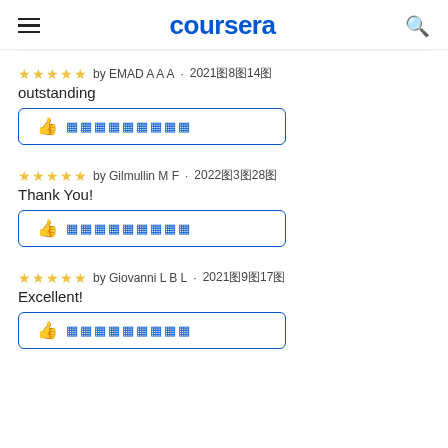coursera
★★★★★ by EMAD A A A · 2021年8月14日
outstanding
[Figure (other): Helpful button with thumbs up icon and placeholder text]
★★★★★ by Gilmullin M F · 2022年3月28日
Thank You!
[Figure (other): Helpful button with thumbs up icon and placeholder text]
★★★★★ by Giovanni L B L · 2021年9月17日
Excellent!
[Figure (other): Helpful button with thumbs up icon and placeholder text]